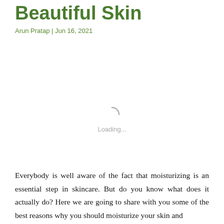Beautiful Skin
Arun Pratap | Jun 16, 2021
[Figure (other): Loading spinner with 'Loading...' text, indicating an image is being loaded]
Everybody is well aware of the fact that moisturizing is an essential step in skincare. But do you know what does it actually do? Here we are going to share with you some of the best reasons why you should moisturize your skin and